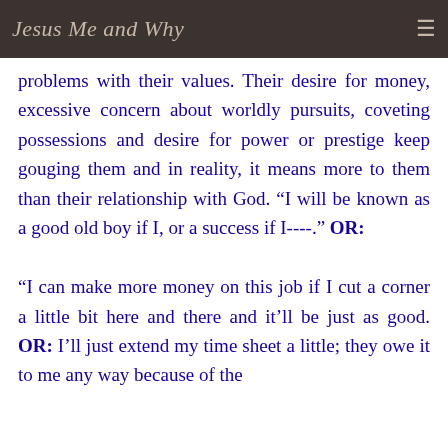Jesus Me and Why
problems with their values. Their desire for money, excessive concern about worldly pursuits, coveting possessions and desire for power or prestige keep gouging them and in reality, it means more to them than their relationship with God. “I will be known as a good old boy if I, or a success if I----.” OR: “I can make more money on this job if I cut a corner a little bit here and there and it’ll be just as good. OR: I’ll just extend my time sheet a little; they owe it to me any way because of the